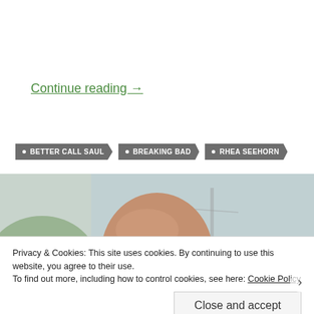Continue reading →
• BETTER CALL SAUL
• BREAKING BAD
• RHEA SEEHORN
[Figure (photo): Close-up photo of a bald elderly man outdoors against a blurred green and sky background]
Privacy & Cookies: This site uses cookies. By continuing to use this website, you agree to their use.
To find out more, including how to control cookies, see here: Cookie Policy
Close and accept